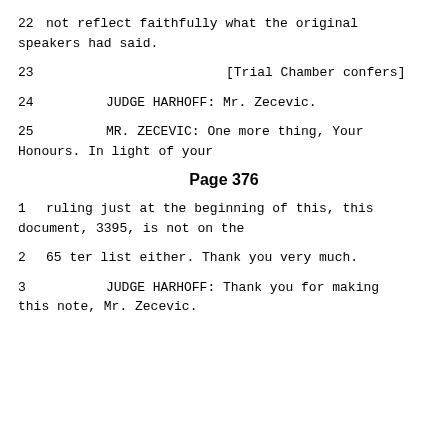22     not reflect faithfully what the original speakers had said.
23                                    [Trial Chamber confers]
24               JUDGE HARHOFF:  Mr. Zecevic.
25               MR. ZECEVIC:  One more thing, Your Honours.  In light of your
Page 376
1     ruling just at the beginning of this, this document, 3395, is not on the
2     65 ter list either.  Thank you very much.
3               JUDGE HARHOFF:  Thank you for making this note, Mr. Zecevic.